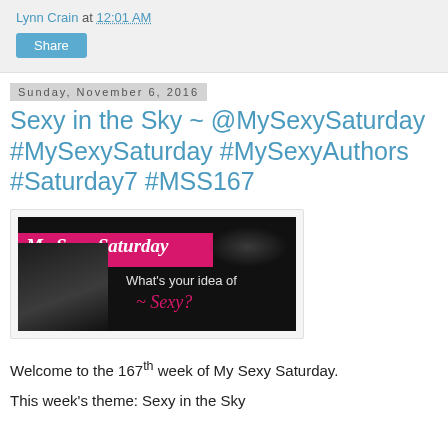Lynn Crain at 12:01 AM
Share
Sunday, November 6, 2016
Sexy in the Sky ~ @MySexySaturday #MySexySaturday #MySexyAuthors #Saturday7 #MSS167
[Figure (photo): My Sexy Saturday banner image on black background with pink bar, cursive logo text 'My Sexy Saturday', silhouette of couple, and text 'What's your idea of Sexy?']
Welcome to the 167th week of My Sexy Saturday.
This week's theme: Sexy in the Sky